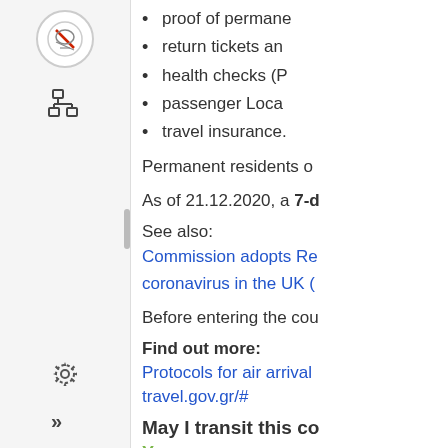proof of permanent residence
return tickets and
health checks (P
passenger Locati
travel insurance.
Permanent residents o
As of 21.12.2020, a 7-d
See also:
Commission adopts Re coronavirus in the UK (
Before entering the cou
Find out more:
Protocols for air arrival
travel.gov.gr/#
May I transit this co
Yes